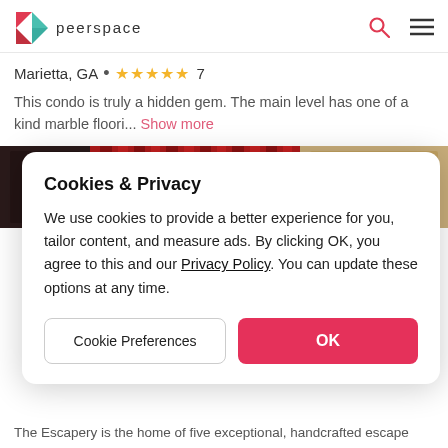peerspace
Marietta, GA • ★★★★★ 7
This condo is truly a hidden gem. The main level has one of a kind marble floori... Show more
[Figure (photo): Photo strip showing a theatrical room with red curtains and dark damask wallpaper, partially obscured by cookie consent modal]
Cookies & Privacy
We use cookies to provide a better experience for you, tailor content, and measure ads. By clicking OK, you agree to this and our Privacy Policy. You can update these options at any time.
Cookie Preferences
OK
The Escapery is the home of five exceptional, handcrafted escape